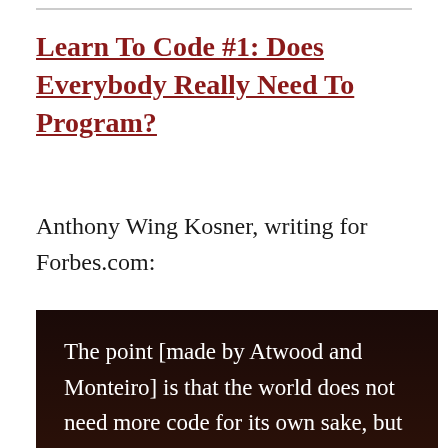Learn To Code #1: Does Everybody Really Need To Program?
Anthony Wing Kosner, writing for Forbes.com:
The point [made by Atwood and Monteiro] is that the world does not need more code for its own sake, but